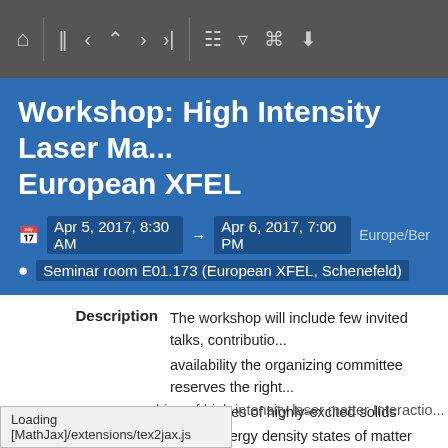Toolbar navigation icons
Workshop: High Intensity Laser Ma... European XFEL
Apr 5, 2017, 8:30 AM → Apr 6, 2017, 7:00 PM Europe/Ber
Seminar room E01.173 (European XFEL, Schenefeld)
Description  The workshop will include few invited talks, contributio... availability the organizing committee reserves the right...
o properties of highly-excited solids
o high energy density states of matter
o probing QED effects
o ionization dynamics at high intensities
o relativistic laser plasma interaction
o energetic particle propagation in matter
o the production of secondary high energy photon and
o application laser driven radiation sources for materia...
Loading [MathJax]/extensions/tex2jax.js
bing of high intensity laser matter Interactio...